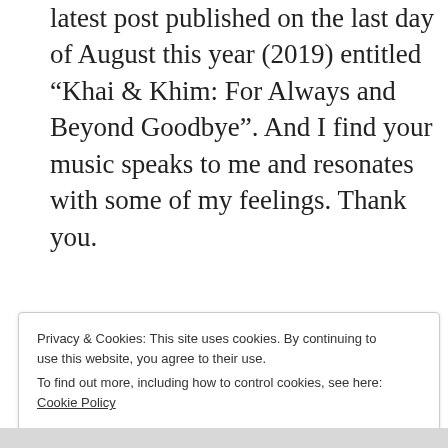latest post published on the last day of August this year (2019) entitled “Khai & Khim: For Always and Beyond Goodbye”. And I find your music speaks to me and resonates with some of my feelings. Thank you.
Happy Sunday to you!
★ Like
Reply
Privacy & Cookies: This site uses cookies. By continuing to use this website, you agree to their use.
To find out more, including how to control cookies, see here: Cookie Policy
Close and accept